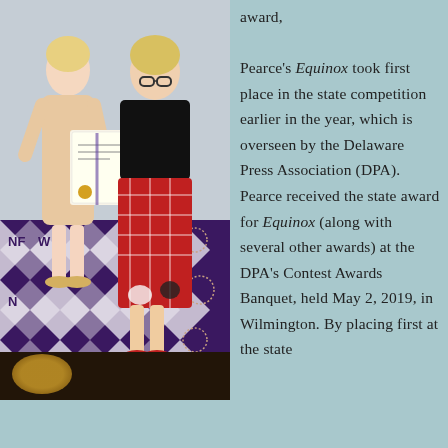[Figure (photo): Two women standing together holding a certificate/award at an NFPW event backdrop. The woman on the left wears a light beige lace dress and gold sandals, the woman on the right wears a black top with a red plaid and cat-print skirt.]
award, Pearce's Equinox took first place in the state competition earlier in the year, which is overseen by the Delaware Press Association (DPA). Pearce received the state award for Equinox (along with several other awards) at the DPA's Contest Awards Banquet, held May 2, 2019, in Wilmington. By placing first at the state